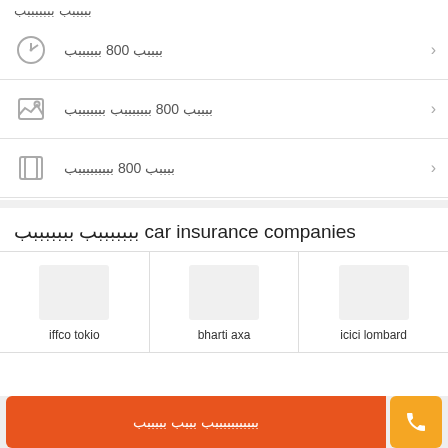ببببب 800 ببببببب
ببببب 800 بببببببب بببببببب
ببببب 800 بببببببببب
بببببببب بببببببب car insurance companies
[Figure (other): Grid of car insurance company logos: iffco tokio, bharti axa, icici lombard]
بببببببببببب بببب بببببب